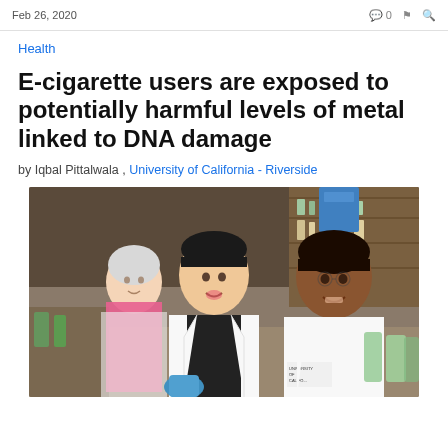Feb 26, 2020
Health
E-cigarette users are exposed to potentially harmful levels of metal linked to DNA damage
by Iqbal Pittalwala , University of California - Riverside
[Figure (photo): Three researchers in white lab coats smiling in a laboratory setting. An older woman in pink is in the background, a young Asian man in the center, and a young Black woman on the right. Lab equipment and shelving visible in background.]